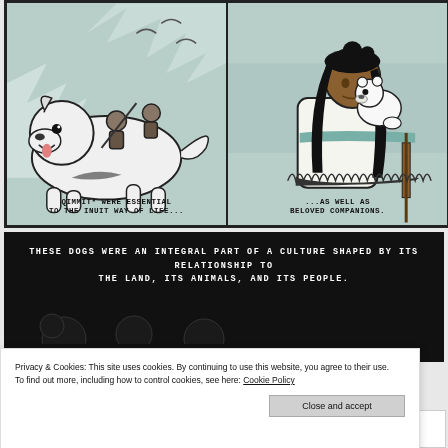[Figure (illustration): Two-panel comic illustration. Left panel: Qimmit (Inuit sled dogs) running, with riders on their backs, stylized action scene with teal/white coloring. Caption: 'QIMMIT* WERE ESSENTIAL TO THE INUIT WAY OF LIFE...'. Right panel: An Inuit girl in white fur clothing holding a small polar bear cub on her back. Caption: '...AS WELL AS BELOVED COMPANIONS.']
[Figure (illustration): Dark/black background panel with white handwritten-style text: 'THESE DOGS WERE AN INTEGRAL PART OF A CULTURE SHAPED BY ITS RELATIONSHIP TO THE LAND, ITS ANIMALS, AND ITS PEOPLE.' Below shows partial dark illustration of dogs.]
Privacy & Cookies: This site uses cookies. By continuing to use this website, you agree to their use. To find out more, including how to control cookies, see here: Cookie Policy
Close and accept
[Figure (illustration): Partial bottom strip showing dark silhouettes of dogs.]